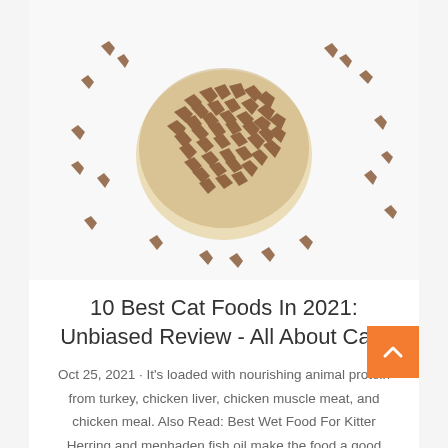[Figure (photo): Top-down view of a bowl of dry cat food kibble with scattered heart/triangle-shaped kibble pieces around it on a white background]
10 Best Cat Foods In 2021: Unbiased Review - All About Cats
Oct 25, 2021 · It's loaded with nourishing animal protein from turkey, chicken liver, chicken muscle meat, and chicken meal. Also Read: Best Wet Food For Kittens Herring and menhaden fish oil make the food a good source